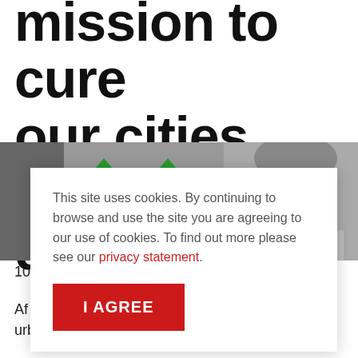mission to cure our cities through design
[Figure (photo): Black and white photo of a person with green arrows overlaid, partially visible behind a cookie consent dialog]
This site uses cookies. By continuing to browse and use the site you are agreeing to our use of cookies. To find out more please see our privacy statement.
I AGREE
10
After ... urban design, ranging from rural to urban context,